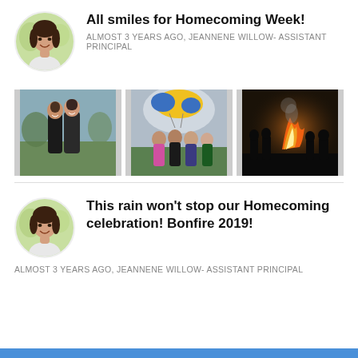All smiles for Homecoming Week!
ALMOST 3 YEARS AGO, JEANNENE WILLOW- ASSISTANT PRINCIPAL
[Figure (photo): Three outdoor photos from Homecoming: two students posing on field, group with colorful parachute/balloon in background, bonfire with students silhouetted]
This rain won’t stop our Homecoming celebration! Bonfire 2019!
ALMOST 3 YEARS AGO, JEANNENE WILLOW- ASSISTANT PRINCIPAL